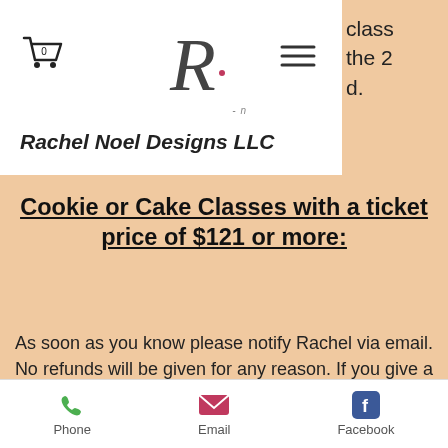Rachel Noel Designs LLC
Cookie or Cake Classes with a ticket price of $121 or more:
As soon as you know please notify Rachel via email. No refunds will be given for any reason. If you give a 30 day notice or more prior to the class date you will be credited in full. This credit can be applied to any class that
Phone   Email   Facebook